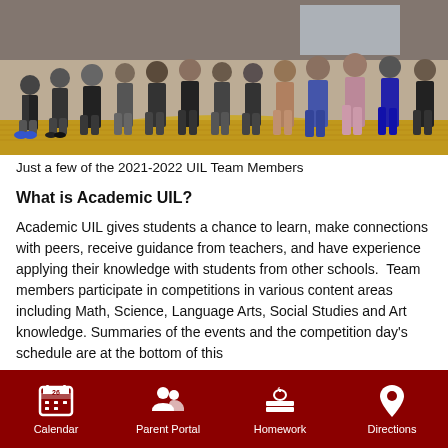[Figure (photo): Group photo of 2021-2022 UIL Team Members standing in a row, with a wooden floor and brick wall background]
Just a few of the 2021-2022 UIL Team Members
What is Academic UIL?
Academic UIL gives students a chance to learn, make connections with peers, receive guidance from teachers, and have experience applying their knowledge with students from other schools.  Team members participate in competitions in various content areas including Math, Science, Language Arts, Social Studies and Art knowledge. Summaries of the events and the competition day's schedule are at the bottom of this
Calendar  Parent Portal  Homework  Directions